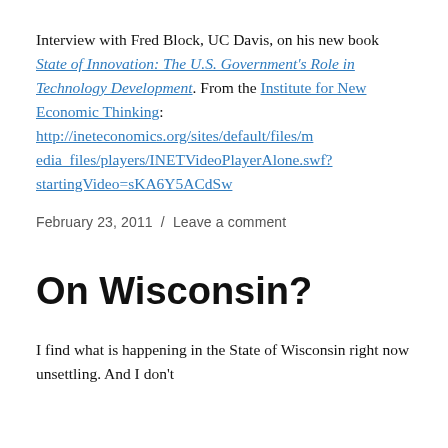Interview with Fred Block, UC Davis, on his new book State of Innovation: The U.S. Government's Role in Technology Development. From the Institute for New Economic Thinking: http://ineteconomics.org/sites/default/files/media_files/players/INETVideoPlayerAlone.swf?startingVideo=sKA6Y5ACdSw
February 23, 2011 / Leave a comment
On Wisconsin?
I find what is happening in the State of Wisconsin right now unsettling. And I don't